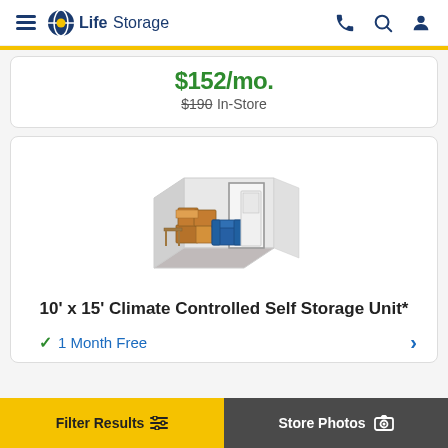LifeStorage
$152/mo. $190 In-Store
[Figure (illustration): Isometric illustration of a 10x15 storage unit interior showing boxes, furniture, and items stored inside]
10' x 15' Climate Controlled Self Storage Unit*
1 Month Free
Filter Results | Store Photos